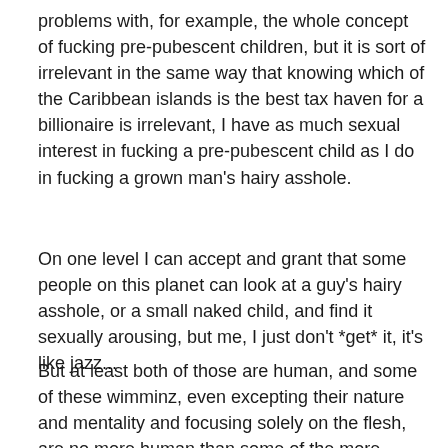problems with, for example, the whole concept of fucking pre-pubescent children, but it is sort of irrelevant in the same way that knowing which of the Caribbean islands is the best tax haven for a billionaire is irrelevant, I have as much sexual interest in fucking a pre-pubescent child as I do in fucking a grown man's hairy asshole.
On one level I can accept and grant that some people on this planet can look at a guy's hairy asshole, or a small naked child, and find it sexually arousing, but me, I just don't *get* it, it's like jazz...
But at least both of those are human, and some of these wimminz, even excepting their nature and mentality and focusing solely on the flesh, are no more human than some of the more freaky melted flesh monsters dreamt up by film FX directors, it is mystery meat, and I again can